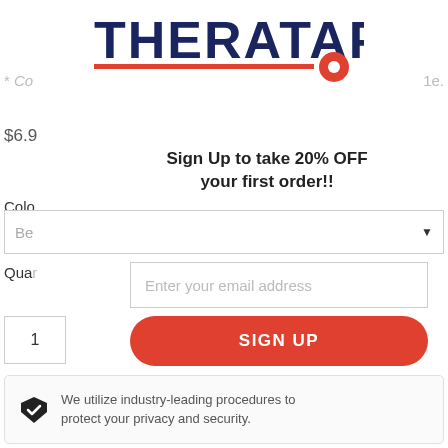[Figure (logo): THERATAPE logo in dark navy bold text with a red circle/tape graphic underneath]
* Co
1e.
$6.9
Sign Up to take 20% OFF your first order!!
Colo
Be
Qua
Enter your email address
1
SIGN UP
Share
We utilize industry-leading procedures to protect your privacy and security.